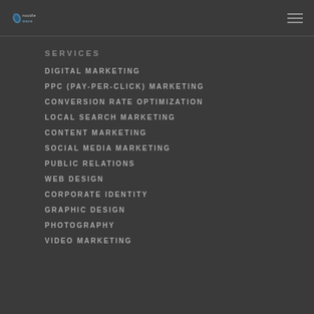noodlewave [logo] [menu icon]
SERVICES
DIGITAL MARKETING
PPC (PAY-PER-CLICK) MARKETING
CONVERSION RATE OPTIMIZATION
LOCAL SEARCH MARKETING
CONTENT MARKETING
SOCIAL MEDIA MARKETING
PUBLIC RELATIONS
WEB DESIGN
CORPORATE IDENTITY
GRAPHIC DESIGN
PHOTOGRAPHY
VIDEO MARKETING